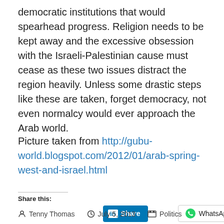democratic institutions that would spearhead progress. Religion needs to be kept away and the excessive obsession with the Israeli-Palestinian cause must cease as these two issues distract the region heavily. Unless some drastic steps like these are taken, forget democracy, not even normalcy would ever approach the Arab world.
Picture taken from http://gubu-world.blogspot.com/2012/01/arab-spring-west-and-israel.html
Share this:
[Figure (screenshot): LinkedIn Share button and WhatsApp share button]
Tenny Thomas  July 5, 2013  Politics